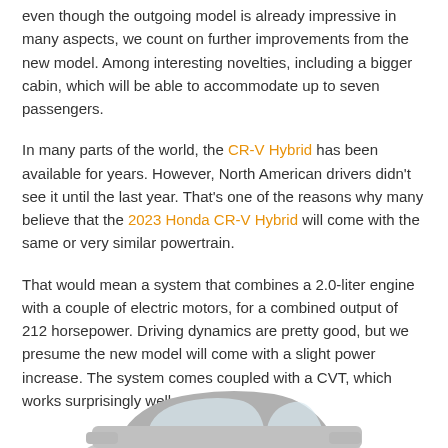even though the outgoing model is already impressive in many aspects, we count on further improvements from the new model. Among interesting novelties, including a bigger cabin, which will be able to accommodate up to seven passengers.
In many parts of the world, the CR-V Hybrid has been available for years. However, North American drivers didn't see it until the last year. That's one of the reasons why many believe that the 2023 Honda CR-V Hybrid will come with the same or very similar powertrain.
That would mean a system that combines a 2.0-liter engine with a couple of electric motors, for a combined output of 212 horsepower. Driving dynamics are pretty good, but we presume the new model will come with a slight power increase. The system comes coupled with a CVT, which works surprisingly well.
[Figure (illustration): Partial view of a silver/grey Honda CR-V car shown from the side, cropped at the bottom of the page.]